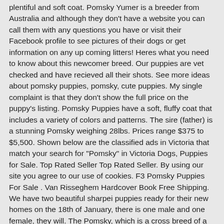plentiful and soft coat. Pomsky Yumer is a breeder from Australia and although they don't have a website you can call them with any questions you have or visit their Facebook profile to see pictures of their dogs or get information on any up coming litters! Heres what you need to know about this newcomer breed. Our puppies are vet checked and have recieved all their shots. See more ideas about pomsky puppies, pomsky, cute puppies. My single complaint is that they don't show the full price on the puppy's listing. Pomsky Puppies have a soft, fluffy coat that includes a variety of colors and patterns. The sire (father) is a stunning Pomsky weighing 28lbs. Prices range $375 to $5,500. Shown below are the classified ads in Victoria that match your search for "Pomsky" in Victoria Dogs, Puppies for Sale. Top Rated Seller Top Rated Seller. By using our site you agree to our use of cookies. F3 Pomsky Puppies For Sale . Van Risseghem Hardcover Book Free Shipping. We have two beautiful sharpei puppies ready for their new homes on the 18th of January, there is one male and one female, they will. The Pomsky, which is a cross breed of a Siberian husky and a Pomeranian, comes in a variety of colors like